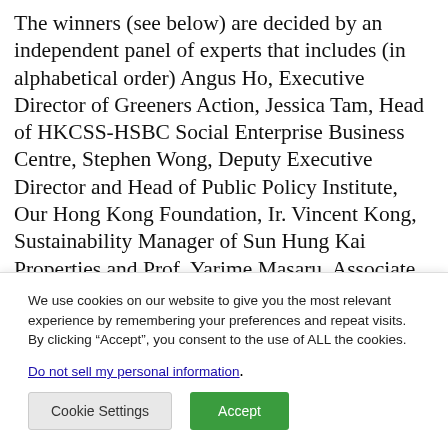The winners (see below) are decided by an independent panel of experts that includes (in alphabetical order) Angus Ho, Executive Director of Greeners Action, Jessica Tam, Head of HKCSS-HSBC Social Enterprise Business Centre, Stephen Wong, Deputy Executive Director and Head of Public Policy Institute, Our Hong Kong Foundation, Ir. Vincent Kong, Sustainability Manager of Sun Hung Kai Properties and Prof. Yarime Masaru, Associate Professor, Division of Public Policy at The
We use cookies on our website to give you the most relevant experience by remembering your preferences and repeat visits. By clicking “Accept”, you consent to the use of ALL the cookies.
Do not sell my personal information.
Cookie Settings  Accept